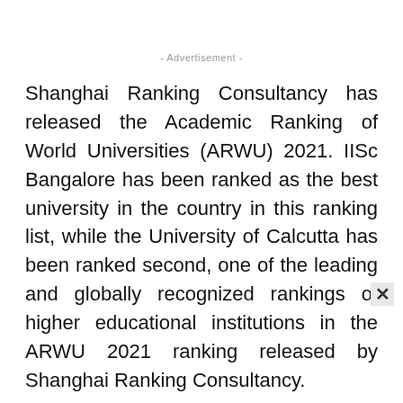- Advertisement -
Shanghai Ranking Consultancy has released the Academic Ranking of World Universities (ARWU) 2021. IISc Bangalore has been ranked as the best university in the country in this ranking list, while the University of Calcutta has been ranked second, one of the leading and globally recognized rankings of higher educational institutions in the ARWU 2021 ranking released by Shanghai Ranking Consultancy.